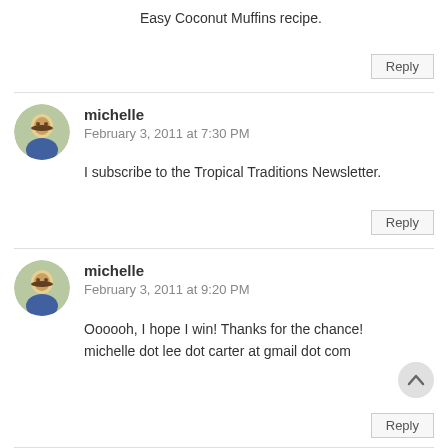Easy Coconut Muffins recipe.
Reply
michelle
February 3, 2011 at 7:30 PM
I subscribe to the Tropical Traditions Newsletter.
Reply
michelle
February 3, 2011 at 9:20 PM
Oooooh, I hope I win! Thanks for the chance! michelle dot lee dot carter at gmail dot com
Reply